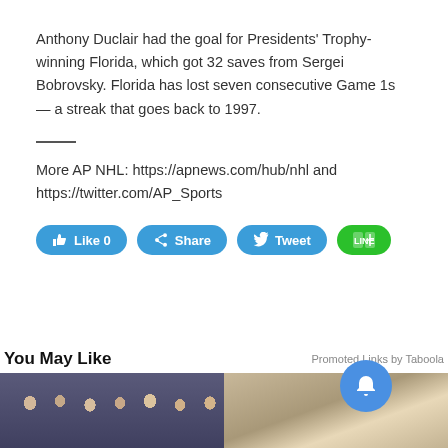Anthony Duclair had the goal for Presidents' Trophy-winning Florida, which got 32 saves from Sergei Bobrovsky. Florida has lost seven consecutive Game 1s — a streak that goes back to 1997.
More AP NHL: https://apnews.com/hub/nhl and https://twitter.com/AP_Sports
[Figure (screenshot): Social media share buttons: Like 0 (blue), Share (blue), Tweet (blue), LINE (green)]
You May Like
Promoted Links by Taboola
[Figure (photo): Group photo of people in formal attire (left thumbnail)]
[Figure (photo): Photo of an elderly man (right thumbnail)]